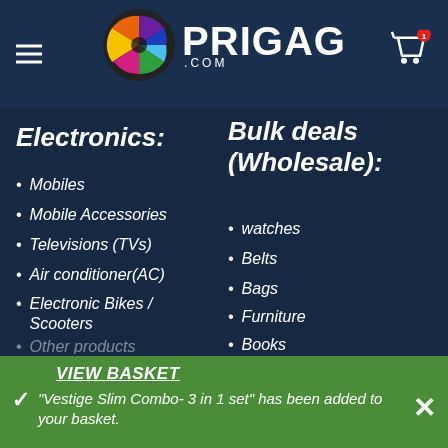PRIGAG .COM
Electronics:
Mobiles
Mobile Accessories
Televisions (TVs)
Air conditioner(AC)
Electronic Bikes / Scooters
Other products
Bulk deals (Wholesale):
watches
Belts
Bags
Furniture
Books
VIEW BASKET
"Vestige Slim Combo- 3 in 1 set" has been added to your basket.